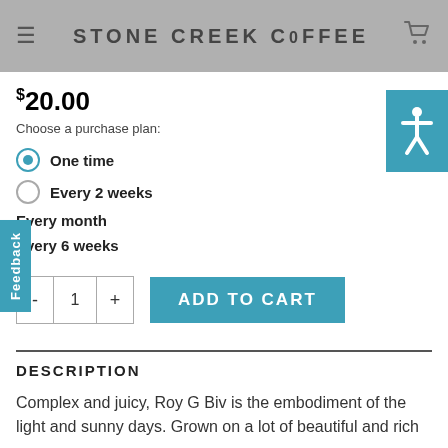STONE CREEK COFFEE
$20.00
Choose a purchase plan:
One time
Every 2 weeks
Every month
Every 6 weeks
DESCRIPTION
Complex and juicy, Roy G Biv is the embodiment of the light and sunny days. Grown on a lot of beautiful and rich...